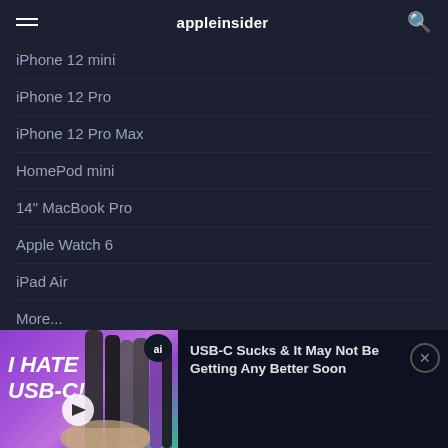appleinsider
iPhone 12 mini
iPhone 12 Pro
iPhone 12 Pro Max
HomePod mini
14" MacBook Pro
Apple Watch 6
iPad Air
More...
[Figure (screenshot): Video thumbnail showing cables with text 'I HATE USB-C!' and an ai badge]
USB-C Sucks & It May Not Be Getting Any Better Soon